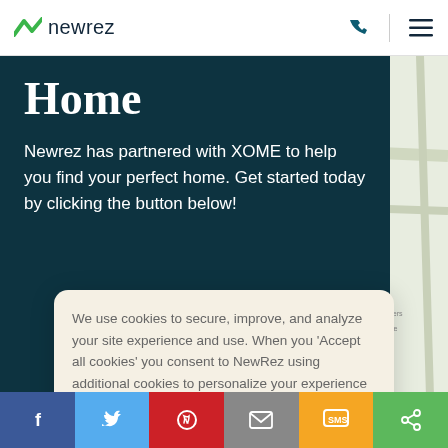[Figure (logo): Newrez logo with green chevron/mountain mark and 'newrez' text in dark navy]
Home
Newrez has partnered with XOME to help you find your perfect home. Get started today by clicking the button below!
We use cookies to secure, improve, and analyze your site experience and use. When you 'Accept all cookies' you consent to NewRez using additional cookies to personalize your experience and ads and direct us to share information they collect with our cookie providers. Privacy Policy
ACCEPT ALL COOKIES